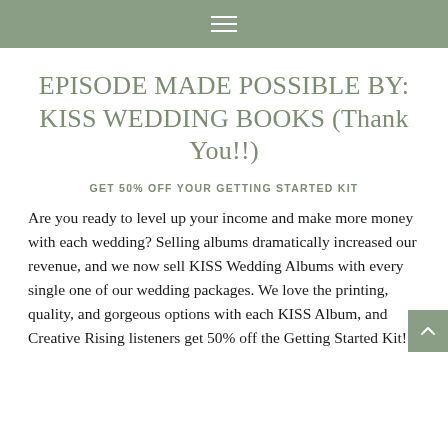≡
EPISODE MADE POSSIBLE BY: KISS WEDDING BOOKS (Thank You!!)
GET 50% OFF YOUR GETTING STARTED KIT
Are you ready to level up your income and make more money with each wedding? Selling albums dramatically increased our revenue, and we now sell KISS Wedding Albums with every single one of our wedding packages. We love the printing, quality, and gorgeous options with each KISS Album, and Creative Rising listeners get 50% off the Getting Started Kit!